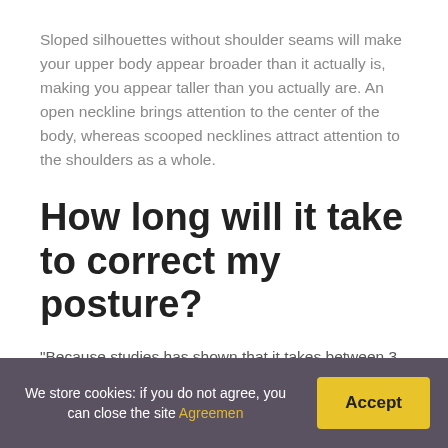Sloped silhouettes without shoulder seams will make your upper body appear broader than it actually is, making you appear taller than you actually are. An open neckline brings attention to the center of the body, whereas scooped necklines attract attention to the shoulders as a whole.
How long will it take to correct my posture?
“Because studies has shown that it takes between 3 and 8 weeks to develop a program, thirty days can make a significant impact in improving posture.” Chiro Yoga Flow inventor Marina Mangane believes that.
We store cookies: if you do not agree, you can close the site Agreemen